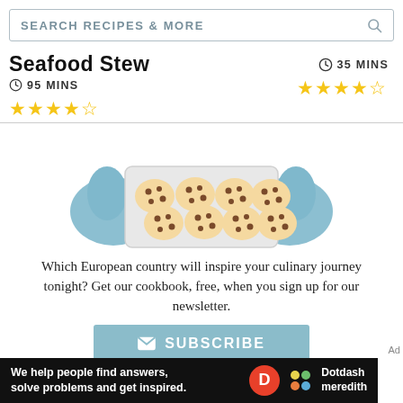SEARCH RECIPES & MORE
Seafood Stew
95 MINS
35 MINS
★★★★✩ (left rating)
★★★★✩ (right rating)
[Figure (illustration): Cartoon illustration of hands in blue oven mitts holding a baking tray with 8 chocolate chip cookies]
Which European country will inspire your culinary journey tonight? Get our cookbook, free, when you sign up for our newsletter.
SUBSCRIBE
We help people find answers, solve problems and get inspired. Dotdash meredith